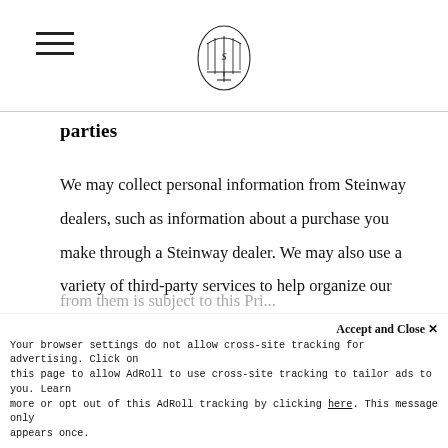[Steinway logo and navigation hamburger menu]
parties
We may collect personal information from Steinway dealers, such as information about a purchase you make through a Steinway dealer. We may also use a variety of third-party services to help organize our events. The information you provide to those third parties is subject to their privacy policies, and any information we receive from them is subject to this Pri...
Accept and Close ×
Your browser settings do not allow cross-site tracking for advertising. Click on this page to allow AdRoll to use cross-site tracking to tailor ads to you. Learn more or opt out of this AdRoll tracking by clicking here. This message only appears once.